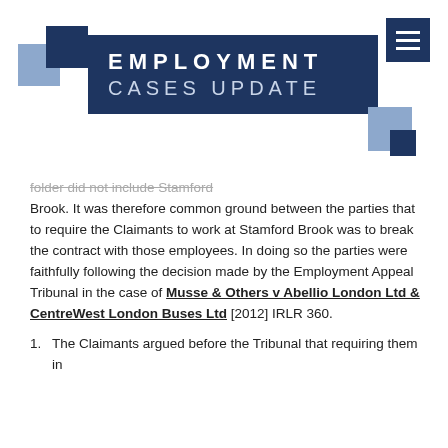EMPLOYMENT CASES UPDATE
folder did not include Stamford Brook. It was therefore common ground between the parties that to require the Claimants to work at Stamford Brook was to break the contract with those employees. In doing so the parties were faithfully following the decision made by the Employment Appeal Tribunal in the case of Musse & Others v Abellio London Ltd & CentreWest London Buses Ltd [2012] IRLR 360.
The Claimants argued before the Tribunal that requiring them in